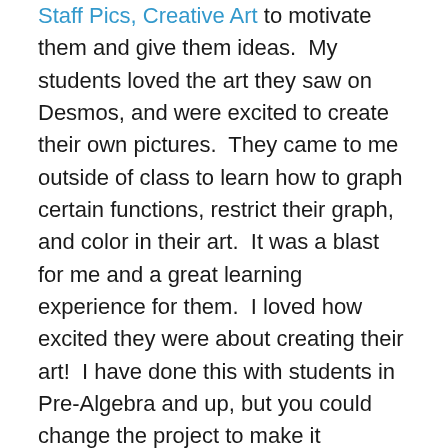Staff Pics, Creative Art to motivate them and give them ideas.  My students loved the art they saw on Desmos, and were excited to create their own pictures.  They came to me outside of class to learn how to graph certain functions, restrict their graph, and color in their art.  It was a blast for me and a great learning experience for them.  I loved how excited they were about creating their art!  I have done this with students in Pre-Algebra and up, but you could change the project to make it appropriate for lower grade levels by having them graph only lines, or having them plot points in a Desmos table and connect them.
To keep all of their art projects in one place, I created a Desmos Activity Builder for the project.  Having them do the project through an Activity Builder helped me manage all of their graphs so I could easily view them and access